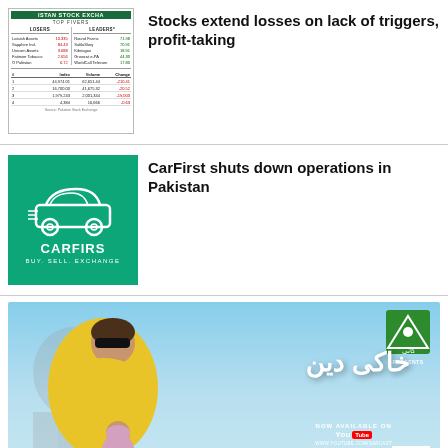[Figure (other): Pakistan Stock Exchange top losers and leaders table thumbnail]
Stocks extend losses on lack of triggers, profit-taking
[Figure (logo): CarFirst logo - green background with car icon and text CARFIRST BUY. SELL. EXCHANGE]
CarFirst shuts down operations in Pakistan
[Figure (photo): Movie promotional banner for an Urdu film presented by Kani, showing a woman in yellow dress, available on YouTube]